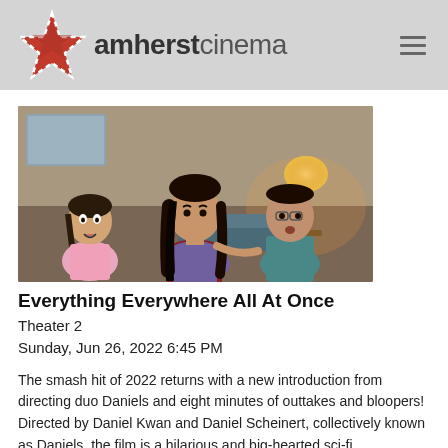amherstcinema
[Figure (photo): Movie still from Everything Everywhere All At Once showing three Asian women, one in a pink top looking scared on the left, a woman in the center with long dark hair wearing a purple floral top and dark red vest, and a man behind her in a teal jacket. Warm lamp light visible in background right.]
Everything Everywhere All At Once
Theater 2
Sunday, Jun 26, 2022 6:45 PM
The smash hit of 2022 returns with a new introduction from directing duo Daniels and eight minutes of outtakes and bloopers! Directed by Daniel Kwan and Daniel Scheinert, collectively known as Daniels, the film is a hilarious and big-hearted sci-fi